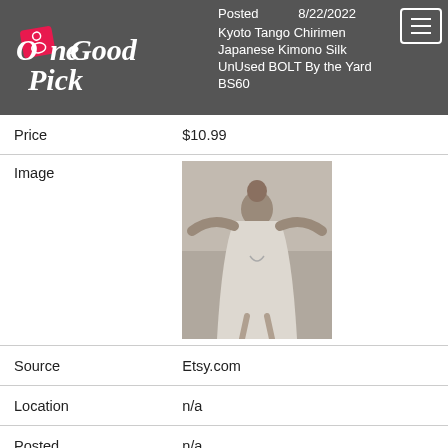OneGoodPick — Posted 8/22/2022 — Kyoto Tango Chirimen Japanese Kimono Silk UnUsed BOLT By the Yard BS60
| Field | Value |
| --- | --- |
| Price | $10.99 |
| Image | [product image] |
| Source | Etsy.com |
| Location | n/a |
| Posted | n/a |
| Title | Bridal robe with wide sleeves Bride robe Long white robe Satin silk |